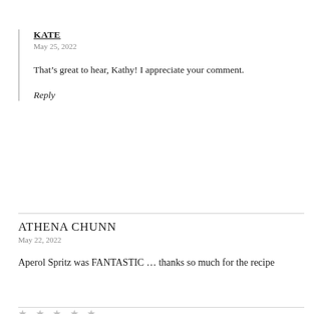KATE
May 25, 2022
That’s great to hear, Kathy! I appreciate your comment.
Reply
ATHENA CHUNN
May 22, 2022
Aperol Spritz was FANTASTIC … thanks so much for the recipe
★ ★ ★ ★ ★